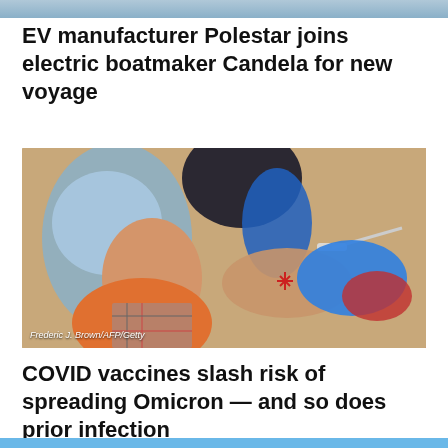[Figure (photo): Partial view of a photo strip at the top of the page, appears to show a vehicle or boat scene]
EV manufacturer Polestar joins electric boatmaker Candela for new voyage
[Figure (photo): A person wearing a blue surgical mask and orange shirt receiving a COVID vaccine injection in their arm. A healthcare worker in blue gloves administers the shot. Photo credit: Frederic J. Brown/AFP/Getty]
COVID vaccines slash risk of spreading Omicron — and so does prior infection